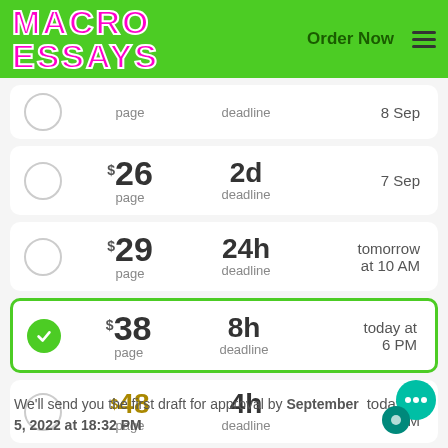[Figure (logo): MACRO ESSAYS logo in pink/magenta with white stroke on green background, with Order Now nav link and hamburger menu]
page | deadline | 8 Sep (partial row, top)
$26 / page | 2d deadline | 7 Sep
$29 / page | 24h deadline | tomorrow at 10 AM
$38 / page | 8h deadline | today at 6 PM (selected)
$48 / page | 4h deadline | today at 2 PM
We'll send you the first draft for approval by September 5, 2022 at 18:32 PM